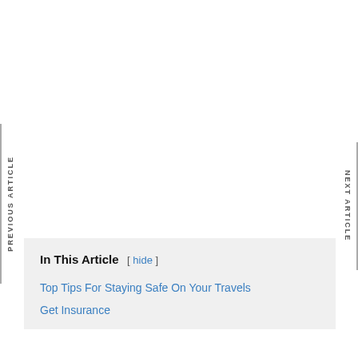PREVIOUS ARTICLE
NEXT ARTICLE
In This Article [ hide ]
Top Tips For Staying Safe On Your Travels
Get Insurance